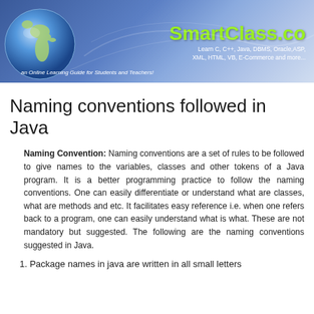[Figure (illustration): SmartClass.co website header banner with globe graphic on left and branding text on right showing 'SmartClass.co' in green with tagline 'Learn C, C++, Java, DBMS, Oracle,ASP, XML, HTML, VB, E-Commerce and more...' and 'an Online Learning Guide for Students and Teachers!']
Naming conventions followed in Java
Naming Convention: Naming conventions are a set of rules to be followed to give names to the variables, classes and other tokens of a Java program. It is a better programming practice to follow the naming conventions. One can easily differentiate or understand what are classes, what are methods and etc. It facilitates easy reference i.e. when one refers back to a program, one can easily understand what is what. These are not mandatory but suggested. The following are the naming conventions suggested in Java.
1. Package names in java are written in all small letters